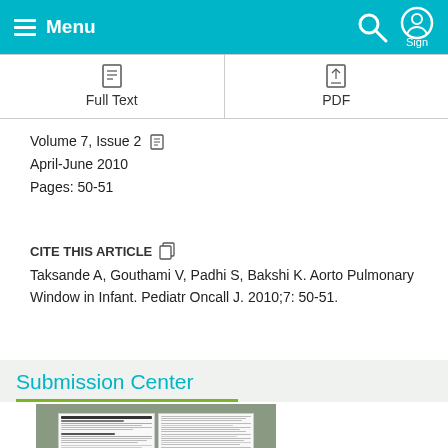Menu | Sign
Full Text | PDF
Volume 7, Issue 2
April-June 2010
Pages: 50-51
CITE THIS ARTICLE
Taksande A, Gouthami V, Padhi S, Bakshi K. Aorto Pulmonary Window in Infant. Pediatr Oncall J. 2010;7: 50-51.
Submission Center
[Figure (photo): Journal pages thumbnail showing two-column article layout]